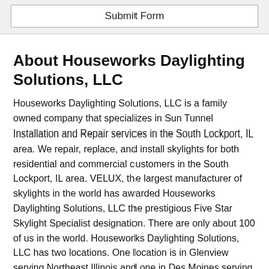[Figure (other): Submit Form button at top of page]
About Houseworks Daylighting Solutions, LLC
Houseworks Daylighting Solutions, LLC is a family owned company that specializes in Sun Tunnel Installation and Repair services in the South Lockport, IL area. We repair, replace, and install skylights for both residential and commercial customers in the South Lockport, IL area. VELUX, the largest manufacturer of skylights in the world has awarded Houseworks Daylighting Solutions, LLC the prestigious Five Star Skylight Specialist designation. There are only about 100 of us in the world. Houseworks Daylighting Solutions, LLC has two locations. One location is in Glenview serving Northeast Illinois and one in Des Moines serving Central Iowa. We stand behind all our Sun Tunnel Installation and Repair services in the South...